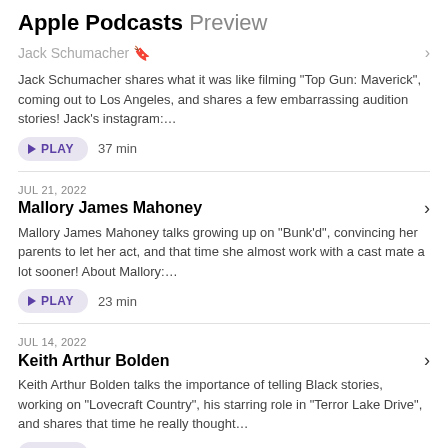Apple Podcasts Preview
Jack Schumacher
Jack Schumacher shares what it was like filming "Top Gun: Maverick", coming out to Los Angeles, and shares a few embarrassing audition stories! Jack's instagram:…
PLAY  37 min
JUL 21, 2022
Mallory James Mahoney
Mallory James Mahoney talks growing up on "Bunk'd", convincing her parents to let her act, and that time she almost work with a cast mate a lot sooner! About Mallory:…
PLAY  23 min
JUL 14, 2022
Keith Arthur Bolden
Keith Arthur Bolden talks the importance of telling Black stories, working on "Lovecraft Country", his starring role in "Terror Lake Drive", and shares that time he really thought…
PLAY  49 min